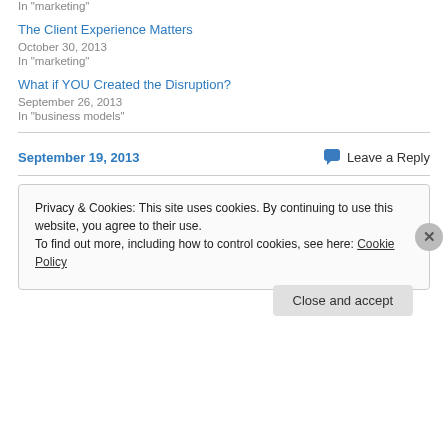In "marketing"
The Client Experience Matters
October 30, 2013
In "marketing"
What if YOU Created the Disruption?
September 26, 2013
In "business models"
September 19, 2013
Leave a Reply
Privacy & Cookies: This site uses cookies. By continuing to use this website, you agree to their use.
To find out more, including how to control cookies, see here: Cookie Policy
Close and accept